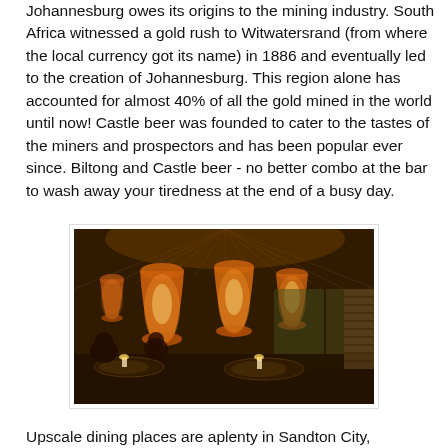Johannesburg owes its origins to the mining industry. South Africa witnessed a gold rush to Witwatersrand (from where the local currency got its name) in 1886 and eventually led to the creation of Johannesburg. This region alone has accounted for almost 40% of all the gold mined in the world until now! Castle beer was founded to cater to the tastes of the miners and prospectors and has been popular ever since. Biltong and Castle beer - no better combo at the bar to wash away your tiredness at the end of a busy day.
[Figure (photo): Interior of an upscale restaurant with warm orange pendant lights hanging from a thatched/wooden ceiling. Diners are seated at tables with candles. Dark wood furniture, warm ambient lighting.]
Upscale dining places are aplenty in Sandton City,